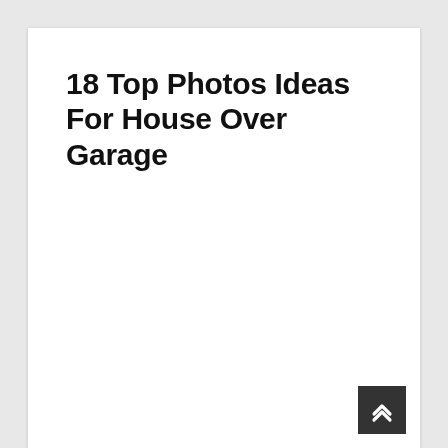18 Top Photos Ideas For House Over Garage